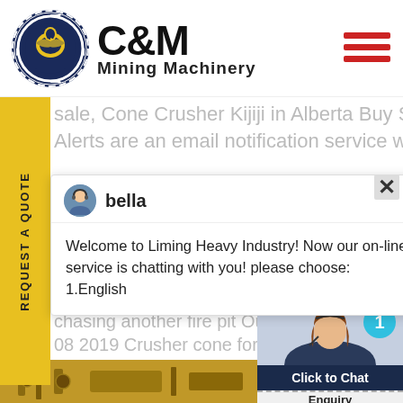[Figure (logo): C&M Mining Machinery logo with eagle in gear circle and company name]
sale, Cone Crusher Kijiji in Alberta Buy Sell Save with.
Alerts are an email notification service where Kijiji
[Figure (screenshot): Chat popup with bella avatar, welcome message from Liming Heavy Industry]
chasing another fire pit Outdoor
08 2019 Crusher cone for sale
[Figure (photo): Customer service agent photo with headset, notification badge showing 1, Click to Chat button, Enquiry bar]
REQUEST A QUOTE